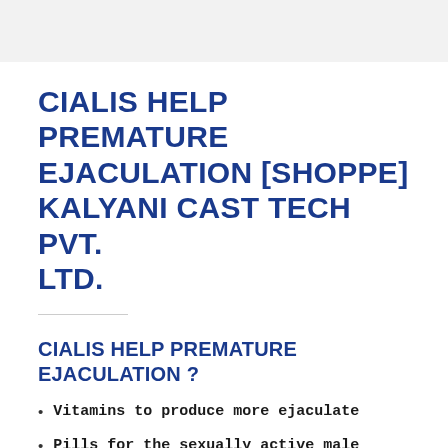CIALIS HELP PREMATURE EJACULATION [SHOPPE] KALYANI CAST TECH PVT. LTD.
CIALIS HELP PREMATURE EJACULATION ?
Vitamins to produce more ejaculate
Pills for the sexually active male